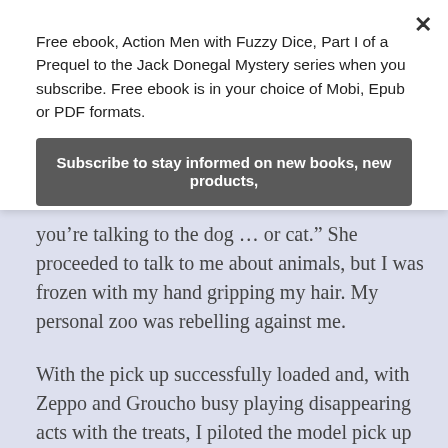Free ebook, Action Men with Fuzzy Dice, Part I of a Prequel to the Jack Donegal Mystery series when you subscribe. Free ebook is in your choice of Mobi, Epub or PDF formats.
Subscribe to stay informed on new books, new products,
you’re talking to the dog … or cat.” She proceeded to talk to me about animals, but I was frozen with my hand gripping my hair. My personal zoo was rebelling against me.
With the pick up successfully loaded and, with Zeppo and Groucho busy playing disappearing acts with the treats, I piloted the model pick up through the doggy door in the front door. In seconds, both animals raced outside after it. That was the moment when Chico, my yellow Indian